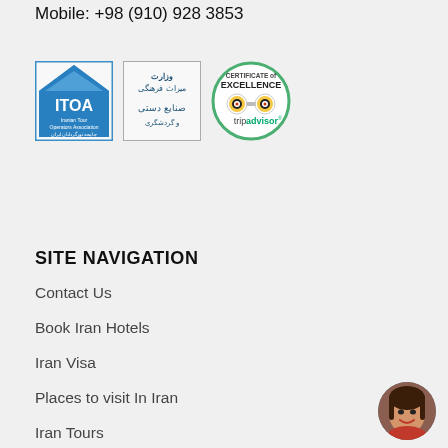Mobile: +98 (910) 928 3853
[Figure (logo): ITOA - Iranian Tour Operators Association logo, blue diamond/house shape with text]
[Figure (logo): Iranian Ministry of Cultural Heritage, Handicrafts and Tourism official logo with Persian script]
[Figure (logo): TripAdvisor Certificate of Excellence logo with owl eyes icon]
SITE NAVIGATION
Contact Us
Book Iran Hotels
Iran Visa
Places to visit In Iran
Iran Tours
[Figure (photo): Circular avatar photo of a young woman with dark hair, smiling, wearing a red top]